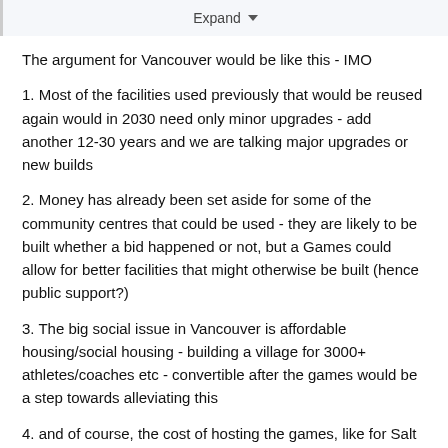Expand
The argument for Vancouver would be like this - IMO
1. Most of the facilities used previously that would be reused again would in 2030 need only minor upgrades - add another 12-30 years and we are talking major upgrades or new builds
2. Money has already been set aside for some of the community centres that could be used - they are likely to be built whether a bid happened or not, but a Games could allow for better facilities that might otherwise be built (hence public support?)
3. The big social issue in Vancouver is affordable housing/social housing - building a village for 3000+ athletes/coaches etc - convertible after the games would be a step towards alleviating this
4. and of course, the cost of hosting the games, like for Salt Lake City, will be much reduced because some of the more expensive facilities are already in place
As a comparison and correct me if there are new plans I don't